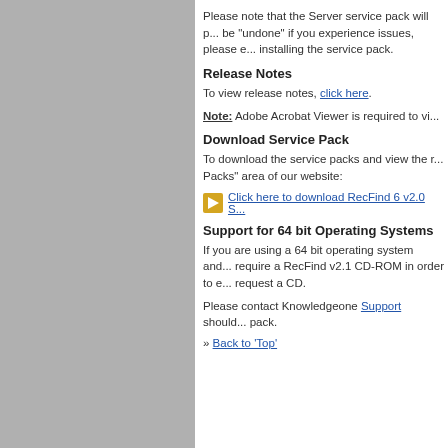Please note that the Server service pack will p... be "undone" if you experience issues, please e... installing the service pack.
Release Notes
To view release notes, click here.
Note: Adobe Acrobat Viewer is required to vi...
Download Service Pack
To download the service packs and view the r... Packs" area of our website:
Click here to download RecFind 6 v2.0 S...
Support for 64 bit Operating Systems
If you are using a 64 bit operating system and... require a RecFind v2.1 CD-ROM in order to e... request a CD.
Please contact Knowledgeone Support should... pack.
» Back to 'Top'